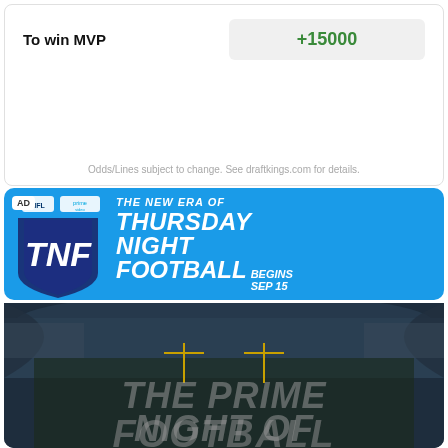To win MVP
+15000
Odds/Lines subject to change. See draftkings.com for details.
[Figure (infographic): AD banner for TNF - Thursday Night Football on Prime Video. Blue background with TNF shield logo. Text: THE NEW ERA OF THURSDAY NIGHT FOOTBALL BEGINS SEP 15]
[Figure (photo): Football stadium aerial view with overlaid text: THE PRIME NIGHT OF FOOTBALL in large grey italic letters]